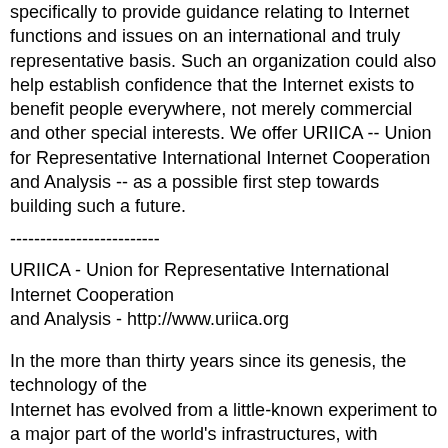specifically to provide guidance relating to Internet functions and issues on an international and truly representative basis. Such an organization could also help establish confidence that the Internet exists to benefit people everywhere, not merely commercial and other special interests. We offer URIICA -- Union for Representative International Internet Cooperation and Analysis -- as a possible first step towards building such a future.
-------------------------
URIICA - Union for Representative International Internet Cooperation and Analysis - http://www.uriica.org
In the more than thirty years since its genesis, the technology of the Internet has evolved from a little-known experiment to a major part of the world's infrastructures, with massive impacts